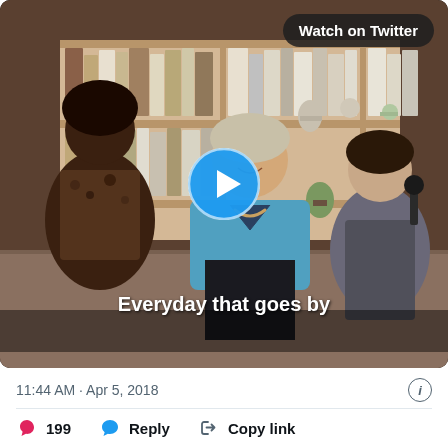[Figure (screenshot): Twitter video thumbnail showing three women seated in a panel discussion setting with bookshelves in the background. A play button is centered on the image. A 'Watch on Twitter' button appears in the top right corner. Subtitle text reads 'Everyday that goes by'.]
11:44 AM · Apr 5, 2018
199   Reply   Copy link